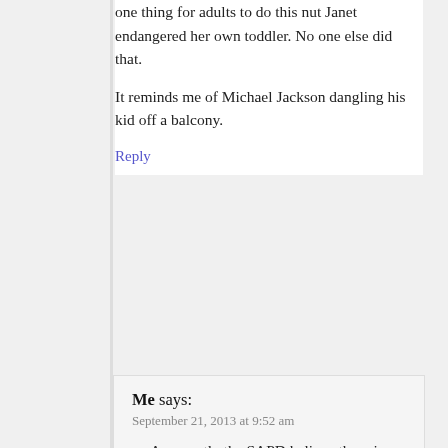one thing for adults to do this nut Janet endangered her own toddler. No one else did that.
It reminds me of Michael Jackson dangling his kid off a balcony.
Reply
Me says:
September 21, 2013 at 9:52 am
Apparently the SAPD believe there is an exemption when the street is closed to public traffic and other vehicles. How embarrassing for you.
Reply
Editor says:
September 21, 2013 at 10:00 am
Please feel free to copy that code